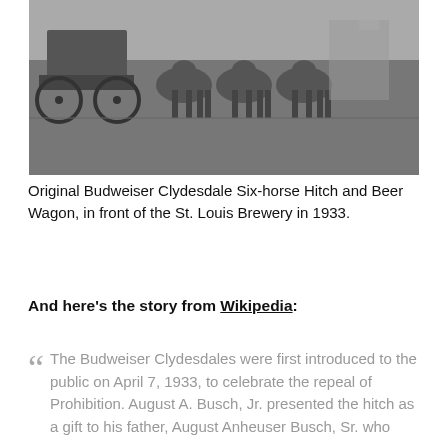[Figure (photo): Black and white photograph of the Original Budweiser Clydesdale Six-horse Hitch and Beer Wagon, in front of the St. Louis Brewery in 1933. Shows horses pulling a large wagon in an outdoor setting.]
Original Budweiser Clydesdale Six-horse Hitch and Beer Wagon, in front of the St. Louis Brewery in 1933.
And here's the story from Wikipedia:
The Budweiser Clydesdales were first introduced to the public on April 7, 1933, to celebrate the repeal of Prohibition. August A. Busch, Jr. presented the hitch as a gift to his father, August Anheuser Busch, Sr. who